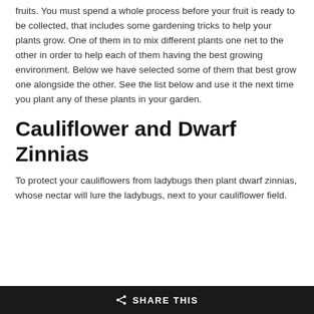fruits. You must spend a whole process before your fruit is ready to be collected, that includes some gardening tricks to help your plants grow. One of them in to mix different plants one net to the other in order to help each of them having the best growing environment. Below we have selected some of them that best grow one alongside the other. See the list below and use it the next time you plant any of these plants in your garden.
Cauliflower and Dwarf Zinnias
To protect your cauliflowers from ladybugs then plant dwarf zinnias, whose nectar will lure the ladybugs, next to your cauliflower field.
SHARE THIS